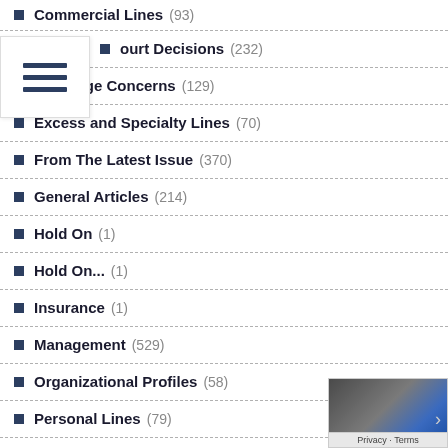Commercial Lines (93)
Court Decisions (232)
Coverage Concerns (129)
Excess and Specialty Lines (70)
From The Latest Issue (370)
General Articles (214)
Hold On (1)
Hold On... (1)
Insurance (1)
Management (529)
Organizational Profiles (58)
Personal Lines (79)
Producers Blog (53)
RN Blog Top Q&A For Agents (52)
Specialty Lines (230)